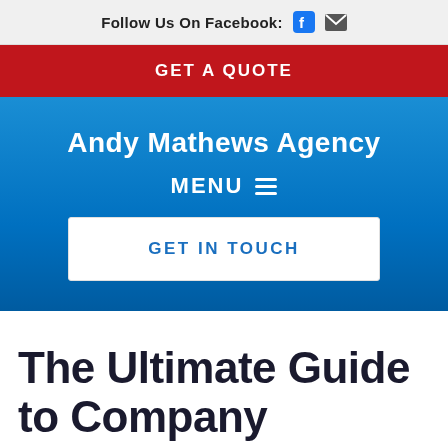Follow Us On Facebook:
GET A QUOTE
Andy Mathews Agency
MENU
GET IN TOUCH
The Ultimate Guide to Company